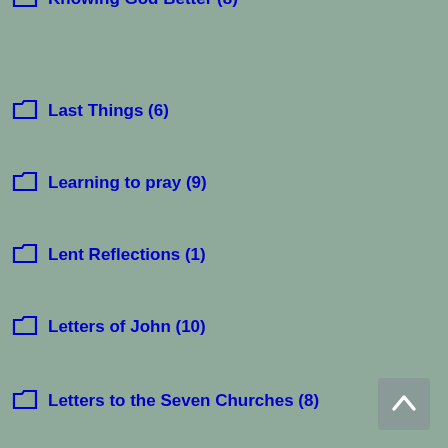Knowing God Better (8)
Last Things (6)
Learning to pray (9)
Lent Reflections (1)
Letters of John (10)
Letters to the Seven Churches (8)
love (1)
Luke on discipleship (12)
Make me a channel of your peace (4)
Mark's Gospel (27)